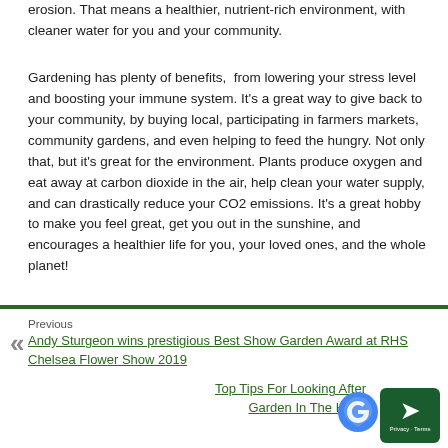erosion. That means a healthier, nutrient-rich environment, with cleaner water for you and your community.
Gardening has plenty of benefits, from lowering your stress level and boosting your immune system. It's a great way to give back to your community, by buying local, participating in farmers markets, community gardens, and even helping to feed the hungry. Not only that, but it's great for the environment. Plants produce oxygen and eat away at carbon dioxide in the air, help clean your water supply, and can drastically reduce your CO2 emissions. It's a great hobby to make you feel great, get you out in the sunshine, and encourages a healthier life for you, your loved ones, and the whole planet!
Previous
Andy Sturgeon wins prestigious Best Show Garden Award at RHS Chelsea Flower Show 2019
Top Tips For Looking After Garden In The He...